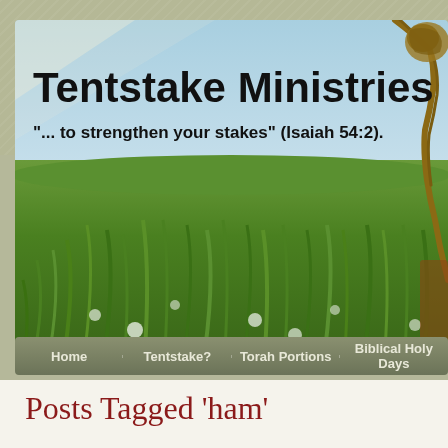[Figure (photo): Website header banner for Tentstake Ministries showing a green wheat/grass field at ground level with a blue sky, and a rope tent stake in the upper right corner. Overlaid text reads 'Tentstake Ministries' in large bold black font and '"... to strengthen your stakes" (Isaiah 54:2).' in smaller bold black font.]
Home | Tentstake? | Torah Portions | Biblical Holy Days
Posts Tagged ‘ham’